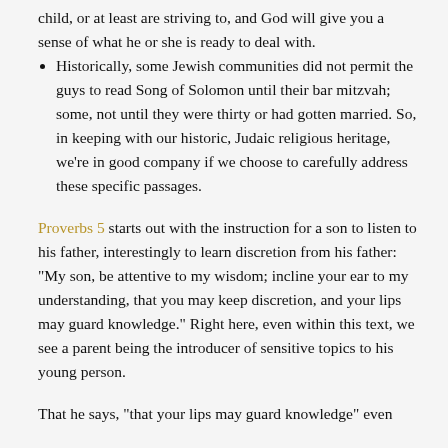child, or at least are striving to, and God will give you a sense of what he or she is ready to deal with.
Historically, some Jewish communities did not permit the guys to read Song of Solomon until their bar mitzvah; some, not until they were thirty or had gotten married. So, in keeping with our historic, Judaic religious heritage, we're in good company if we choose to carefully address these specific passages.
Proverbs 5 starts out with the instruction for a son to listen to his father, interestingly to learn discretion from his father: "My son, be attentive to my wisdom; incline your ear to my understanding, that you may keep discretion, and your lips may guard knowledge." Right here, even within this text, we see a parent being the introducer of sensitive topics to his young person.
That he says, "that your lips may guard knowledge" even